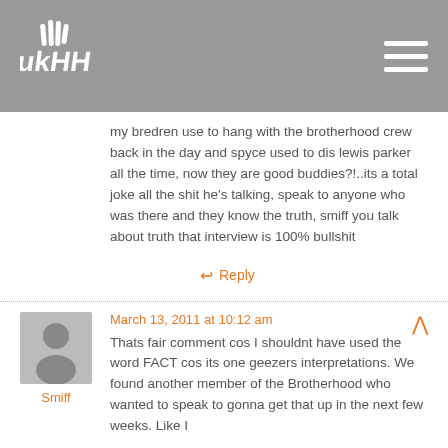ukhh logo and navigation
my bredren use to hang with the brotherhood crew back in the day and spyce used to dis lewis parker all the time, now they are good buddies?!..its a total joke all the shit he's talking, speak to anyone who was there and they know the truth, smiff you talk about truth that interview is 100% bullshit
Reply
March 13, 2011 at 10:12 am
[Figure (illustration): Default grey avatar silhouette of a person]
Smiff
Thats fair comment cos I shouldnt have used the word FACT cos its one geezers interpretations. We found another member of the Brotherhood who wanted to speak to gonna get that up in the next few weeks. Like I